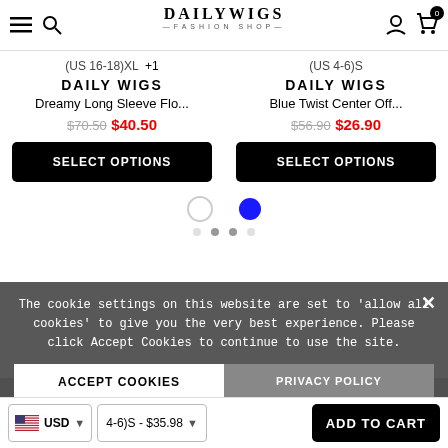DAILYWIGS — FASHION SHOP
(US 16-18)XL +1
(US 4-6)S
DAILY WIGS
DAILY WIGS
Dreamy Long Sleeve Flo...
Blue Twist Center Off...
$70.50  $40.50
$56.90  $26.90
SELECT OPTIONS
SELECT OPTIONS
The cookie settings on this website are set to 'allow all cookies' to give you the very best experience. Please click Accept Cookies to continue to use the site.
ACCEPT COOKIES
PRIVACY POLICY
Customer Reviews
USD  4-6)S - $35.98  ADD TO CART